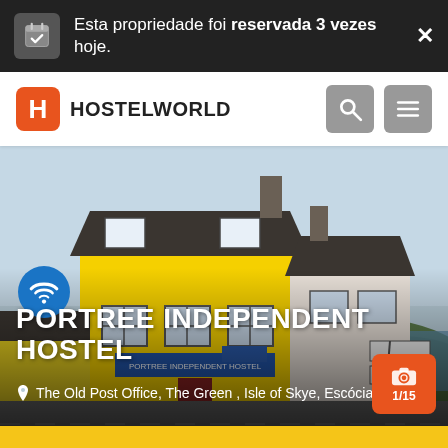[Figure (screenshot): Hostelworld mobile app screenshot showing notification bar and hostel listing for Portree Independent Hostel]
Esta propriedade foi reservada 3 vezes hoje.
HOSTELWORLD
PORTREE INDEPENDENT HOSTEL
The Old Post Office, The Green , Isle of Skye, Escócia
1/15